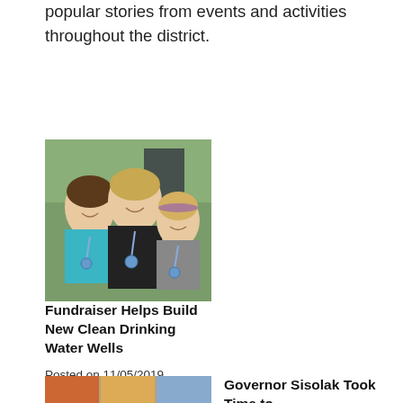Below are links to some of the recent and popular stories from events and activities throughout the district.
[Figure (photo): Three young girls smiling with blue medals around their necks, outdoors.]
Fundraiser Helps Build New Clean Drinking Water Wells
Posted on 11/05/2019
The two-week long Apex Leadership Company training and fundraiser at Fritsch Elementary School not only provided a focused leadership and fitness curriculum that culminated in a school-wide fun run and obstacle course, but it also helped gross nearly $20,000 that benefited the school by more than $10,000 for specialist programs including playground equipment, musical instruments and technology. READ MORE...
[Figure (photo): Partial image visible at bottom of page for second article about Governor Sisolak.]
Governor Sisolak Took Time to